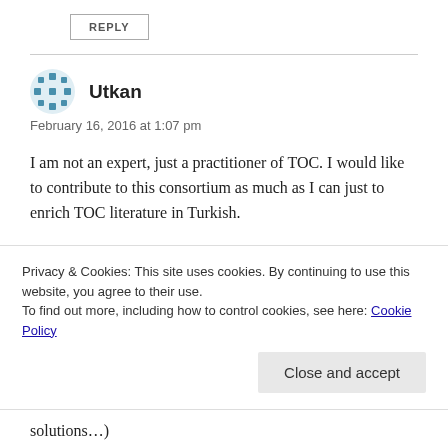REPLY
Utkan
February 16, 2016 at 1:07 pm
I am not an expert, just a practitioner of TOC. I would like to contribute to this consortium as much as I can just to enrich TOC literature in Turkish.
Here in Turkey, TOC is an enigma, everybody has
Privacy & Cookies: This site uses cookies. By continuing to use this website, you agree to their use.
To find out more, including how to control cookies, see here: Cookie Policy
Close and accept
solutions…)